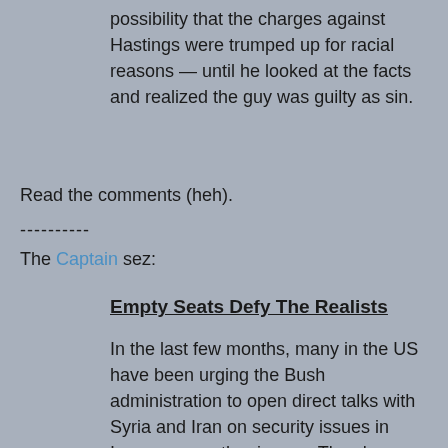possibility that the charges against Hastings were trumped up for racial reasons — until he looked at the facts and realized the guy was guilty as sin.
Read the comments (heh).
----------
The Captain sez:
Empty Seats Defy The Realists
In the last few months, many in the US have been urging the Bush administration to open direct talks with Syria and Iran on security issues in Iraq, among other issues. They have stated that we have to engage with Syria in order to stabilize Lebanon as well as Iraq. However, Michael Young of the Beirut Daily Star writes in the London Times that Syria's record of assassinations in his country should signal the US that no partner for stability and democracy exists in the Assad regime: